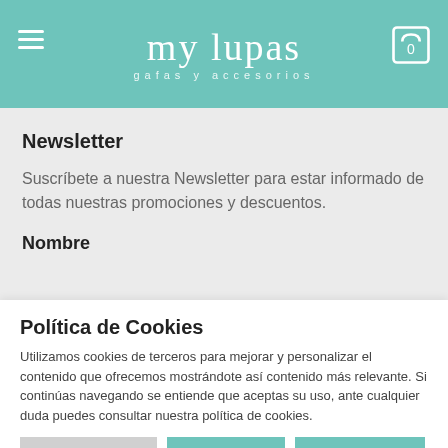my lupas — gafas y accesorios
Newsletter
Suscríbete a nuestra Newsletter para estar informado de todas nuestras promociones y descuentos.
Nombre
Política de Cookies
Utilizamos cookies de terceros para mejorar y personalizar el contenido que ofrecemos mostrándote así contenido más relevante. Si continúas navegando se entiende que aceptas su uso, ante cualquier duda puedes consultar nuestra política de cookies.
Configuración  ACEPTAR  RECHAZAR